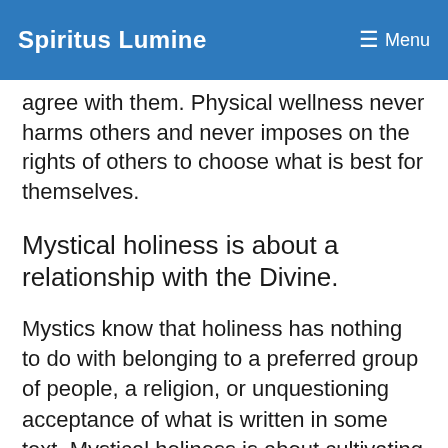Spiritus Lumine  ☰ Menu
agree with them. Physical wellness never harms others and never imposes on the rights of others to choose what is best for themselves.
Mystical holiness is about a relationship with the Divine.
Mystics know that holiness has nothing to do with belonging to a preferred group of people, a religion, or unquestioning acceptance of what is written in some text. Mystical holiness is about cultivating a relationship with the Divine so that one may know their true nature as a Soul. This pure and whole nature we speak of existed before